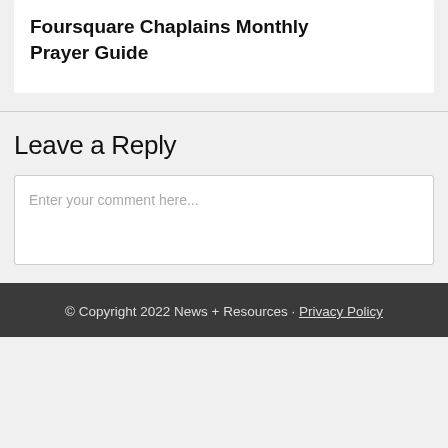Foursquare Chaplains Monthly Prayer Guide
Leave a Reply
Enter your comment here...
© Copyright 2022 News + Resources · Privacy Policy